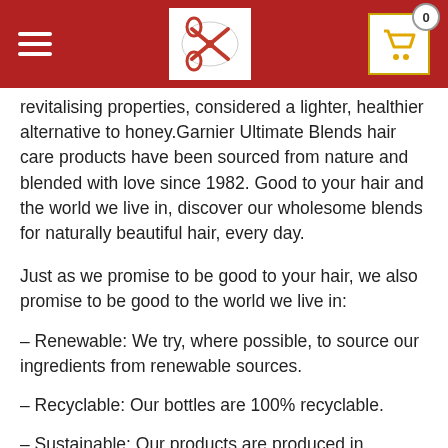Navigation header with hamburger menu, logo, and cart (0 items)
revitalising properties, considered a lighter, healthier alternative to honey.Garnier Ultimate Blends hair care products have been sourced from nature and blended with love since 1982. Good to your hair and the world we live in, discover our wholesome blends for naturally beautiful hair, every day.
Just as we promise to be good to your hair, we also promise to be good to the world we live in:
– Renewable: We try, where possible, to source our ingredients from renewable sources.
– Recyclable: Our bottles are 100% recyclable.
– Sustainable: Our products are produced in factories committed to sustainable production.